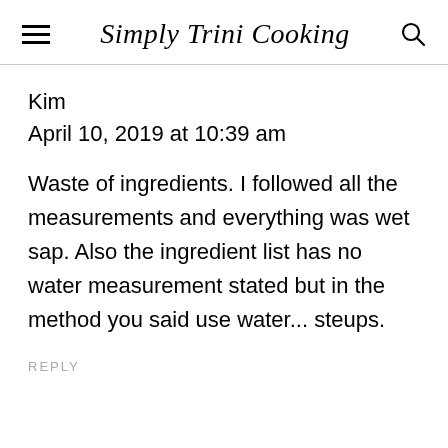Simply Trini Cooking
Kim
April 10, 2019 at 10:39 am
Waste of ingredients. I followed all the measurements and everything was wet sap. Also the ingredient list has no water measurement stated but in the method you said use water... steups.
REPLY